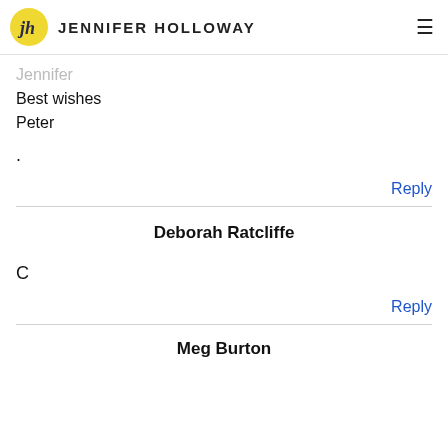JENNIFER HOLLOWAY
Jennifer
Best wishes
Peter
.
Reply
Deborah Ratcliffe
C
Reply
Meg Burton